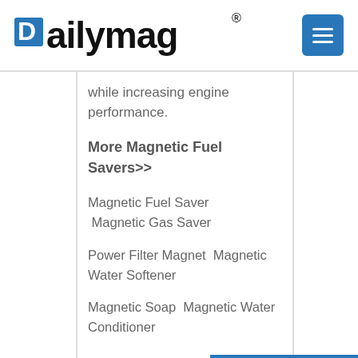[Figure (logo): Dailymag logo with blue square icon and registered trademark symbol, plus blue hamburger menu button]
while increasing engine performance.
More Magnetic Fuel Savers>>
Magnetic Fuel Saver  Magnetic Gas Saver
Power Filter Magnet  Magnetic Water Softener
Magnetic Soap  Magnetic Water Conditioner
[Figure (other): Inquiry Now blue banner with signpost icon]